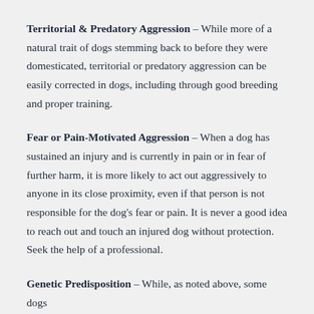Territorial & Predatory Aggression – While more of a natural trait of dogs stemming back to before they were domesticated, territorial or predatory aggression can be easily corrected in dogs, including through good breeding and proper training.
Fear or Pain-Motivated Aggression – When a dog has sustained an injury and is currently in pain or in fear of further harm, it is more likely to act out aggressively to anyone in its close proximity, even if that person is not responsible for the dog's fear or pain. It is never a good idea to reach out and touch an injured dog without protection. Seek the help of a professional.
Genetic Predisposition – While, as noted above, some dogs